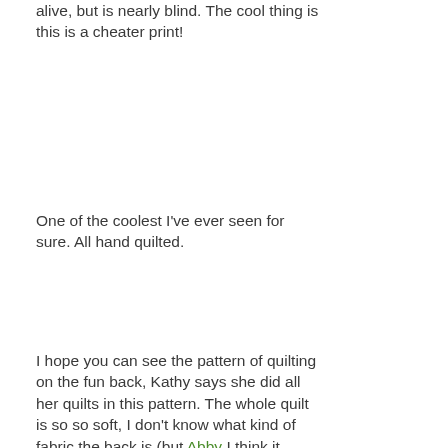alive, but is nearly blind. The cool thing is this is a cheater print!
One of the coolest I've ever seen for sure. All hand quilted.
I hope you can see the pattern of quilting on the fun back, Kathy says she did all her quilts in this pattern. The whole quilt is so so soft, I don't know what kind of fabric the back is (but Abby I think it might be flannel that...